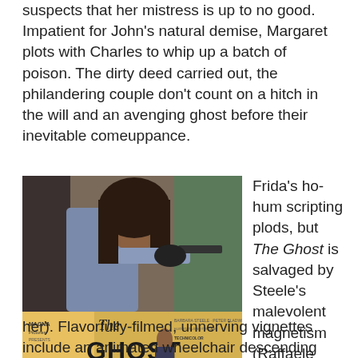suspects that her mistress is up to no good. Impatient for John's natural demise, Margaret plots with Charles to whip up a batch of poison. The dirty deed carried out, the philandering couple don't count on a hitch in the will and an avenging ghost before their inevitable comeuppance.
[Figure (photo): Movie lobby card for 'The Ghost' (Il Fantasma) showing a woman with curly hair pointing a gun at the camera, with the film title 'The Ghost' in large letters at the bottom. Distributed by Magna Pictures, in Technicolor.]
Frida's ho-hum scripting plods, but The Ghost is salvaged by Steele's malevolent magnetism (Raffaele Masciocchi's camera swoons over her). Flavorfully-filmed, unnerving vignettes include an animated wheelchair descending the stairs (prefiguring The